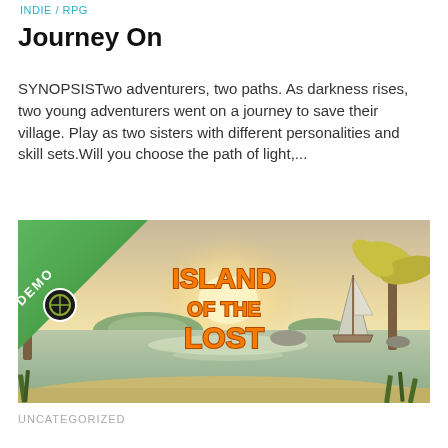INDIE / RPG
Journey On
SYNOPSISTwo adventurers, two paths. As darkness rises, two young adventurers went on a journey to save their village. Play as two sisters with different personalities and skill sets.Will you choose the path of light,...
[Figure (screenshot): Game promotional image for 'Island of the Lost' showing a tropical island scene with palm trees, calm water, a sailboat, and a sunset sky. A green 'DEMO' banner with an Xbox logo is in the top-left corner. The title 'ISLAND OF THE LOST' appears in large orange stylized text in the center.]
UNCATEGORIZED